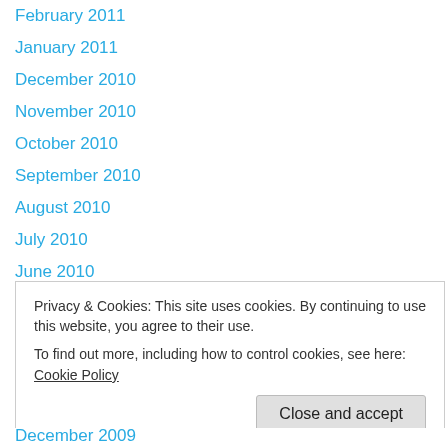February 2011
January 2011
December 2010
November 2010
October 2010
September 2010
August 2010
July 2010
June 2010
May 2010
Privacy & Cookies: This site uses cookies. By continuing to use this website, you agree to their use.
To find out more, including how to control cookies, see here: Cookie Policy
December 2009